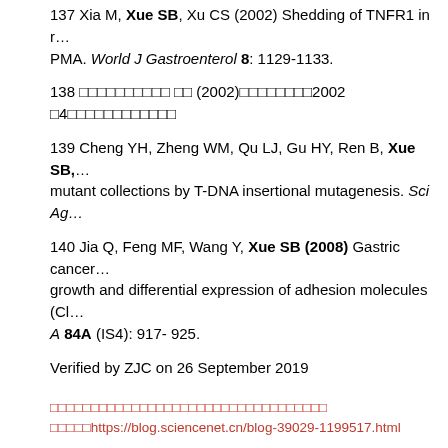137 Xia M, Xue SB, Xu CS (2002) Shedding of TNFR1 in response to PMA. World J Gastroenterol 8: 1129-1133.
138 □□□□□□□□□□ □□ (2002)□□□□□□□□□2002 □4□□□□□□□□□□□□
139 Cheng YH, Zheng WM, Qu LJ, Gu HY, Ren B, Xue SB, … mutant collections by T-DNA insertional mutagenesis. Sci Ag…
140 Jia Q, Feng MF, Wang Y, Xue SB (2008) Gastric cancer … growth and differential expression of adhesion molecules (Cl… A 84A (IS4): 917- 925.
Verified by ZJC on 26 September 2019
□□□□□□□□□□□□□□□□□□□□□□□□□□□□□□□□□□
□□□□□https://blog.sciencenet.cn/blog-39029-1199517.html